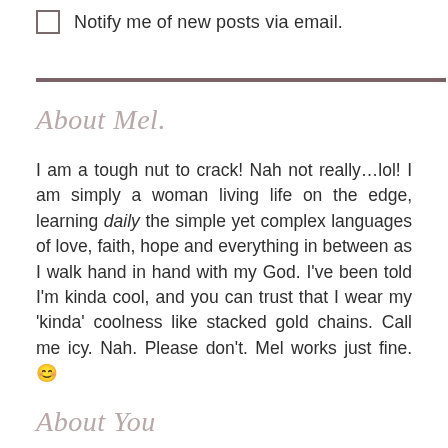Notify me of new posts via email.
About Mel.
I am a tough nut to crack! Nah not really…lol! I am simply a woman living life on the edge, learning daily the simple yet complex languages of love, faith, hope and everything in between as I walk hand in hand with my God. I've been told I'm kinda cool, and you can trust that I wear my 'kinda' coolness like stacked gold chains. Call me icy. Nah. Please don't. Mel works just fine. 😊
About You